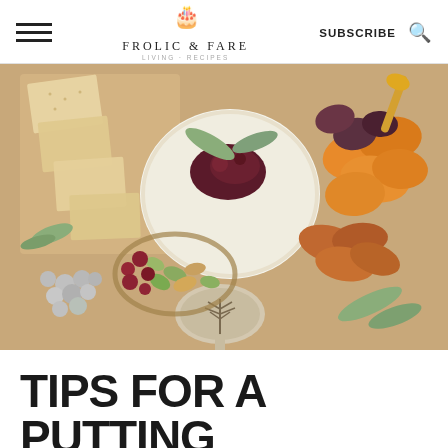FROLIC & FARE | SUBSCRIBE
[Figure (photo): Close-up of a charcuterie/cheese board featuring a round brie cheese topped with dark jam and sage leaves, surrounded by crackers, pistachios, almonds, dried cranberries, dried apricots, dried figs, and an ornate silver spoon with a tree design, all arranged on a wooden board.]
TIPS FOR A PUTTING